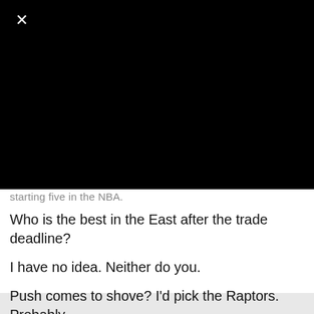[Figure (screenshot): Black video/image area taking up top portion of screen with a white X close button in upper left corner]
starting five in the NBA.
Who is the best in the East after the trade deadline?
I have no idea. Neither do you.
Push comes to shove? I'd pick the Raptors. Probably.